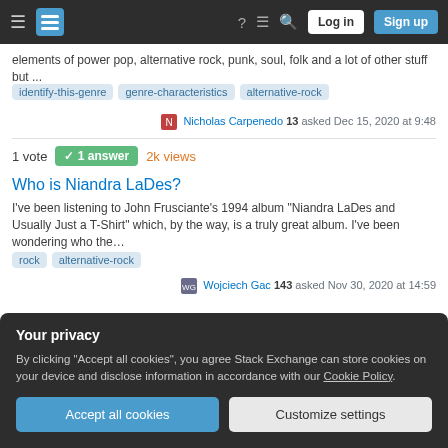Stack Exchange navigation bar with Log in and Sign up buttons
elements of power pop, alternative rock, punk, soul, folk and a lot of other stuff but ...
identify-this-genre
genre-characteristics
alternative-rock
Nicholas Carpenedo 13 asked Dec 15, 2020 at 9:48
1 vote  1 answer  2k views
Who is Niandra LaDes?
I've been listening to John Frusciante's 1994 album "Niandra LaDes and Usually Just a T-Shirt" which, by the way, is a truly great album. I've been wondering who the...
rock
alternative-rock
Wojciech Gac 143 asked Nov 30, 2020 at 14:59
Your privacy
By clicking "Accept all cookies", you agree Stack Exchange can store cookies on your device and disclose information in accordance with our Cookie Policy.
Accept all cookies
Customize settings